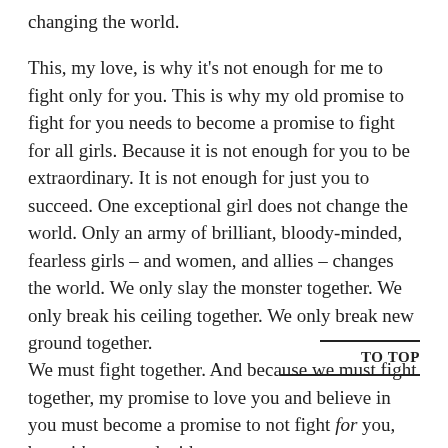changing the world.

This, my love, is why it's not enough for me to fight only for you. This is why my old promise to fight for you needs to become a promise to fight for all girls. Because it is not enough for you to be extraordinary. It is not enough for just you to succeed. One exceptional girl does not change the world. Only an army of brilliant, bloody-minded, fearless girls – and women, and allies – changes the world. We only slay the monster together. We only break his ceiling together. We only break new ground together.

We must fight together. And because we must fight together, my promise to love you and believe in you must become a promise to not fight for you, but with you, and with